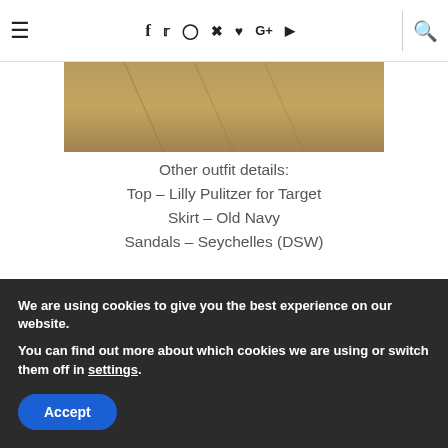≡  f  🐦  📷  📌  ♥  G+  ▶  🔍
[Figure (photo): Partial outdoor photo showing a paved surface with dappled sunlight, appears to be the lower portion of a fashion/outfit photo]
Other outfit details:
Top – Lilly Pulitzer for Target
Skirt – Old Navy
Sandals – Seychelles (DSW)
Disclosure: I was sent Pack A Hat as a present to review.  All opinions as always are my own.
We are using cookies to give you the best experience on our website.
You can find out more about which cookies we are using or switch them off in settings.